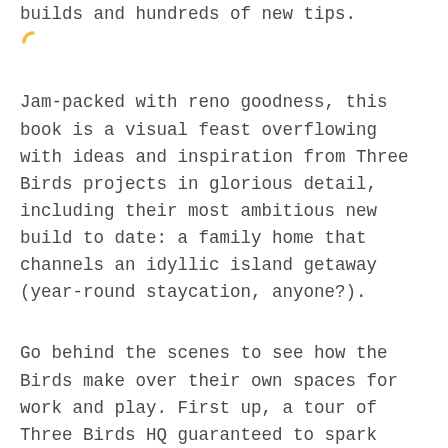builds and hundreds of new tips.
Jam-packed with reno goodness, this book is a visual feast overflowing with ideas and inspiration from Three Birds projects in glorious detail, including their most ambitious new build to date: a family home that channels an idyllic island getaway (year-round staycation, anyone?).
Go behind the scenes to see how the Birds make over their own spaces for work and play. First up, a tour of Three Birds HQ guaranteed to spark ideas and help you turn a humble home office into boss-worthy territory. Next, their spin on Christmas decorating – stuffed full of frugal and festive DIY hacks – will come in handy every year whether you rent, own or live in a caravan.